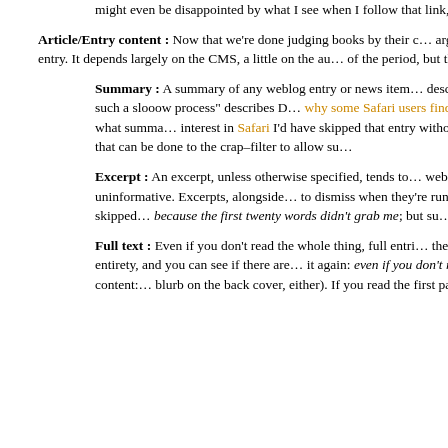might even be disappointed by what I see when I follow that link, disappointed. They've earned that rank, so I trust them even though on…
Article/Entry content: Now that we're done judging books by their covers, let's get to the actual argument. RSS entry content is usually one of three things: an entry excerpt, a summary, or the full text of the entry. It depends largely on the CMS, a little on the author's preference. Regardless of the period, but the sentiment remains the same: they want you…
Summary: A summary of any weblog entry or news item is someone's description of the content. For instance: "Dunstan discovers why some Safari users find browsing his blog such a slooow process" describes Dunstan's entry [link: why some Safari users find browsing his blog such a s...] to describe that entry, which is precisely what summaries do. Without interest in Safari I'd have skipped that entry without a second thought. I do it again, and sometimes I'll miss out on genuinely good entries, but there's nothing that can be done to the crap–filter to allow su…
Excerpt: An excerpt, unless otherwise specified, tends to be the first few words of a weblog entry. The formatting and HTML is stripped, and the result is often as unattractive as it is uninformative. Excerpts, alongside titles, are most likely to dismiss when they're run through that great colander in my head. Unlike summaries, there have been times where I've skipped entries because the first twenty words didn't grab me; but su…
Full text: Even if you don't read the whole thing, full entries tell you what the article is all about. You can tell at a glance just how long it is, you can read the first paragraph in its entirety, and you can see if there are images. I'll say it again: even if you don't read the whole thing, and even people who skim have the opportunity to judge the book by its content: not just the title or the blurb on the back cover, either). If you read the first pa… there! If you want to read the entry in the context…